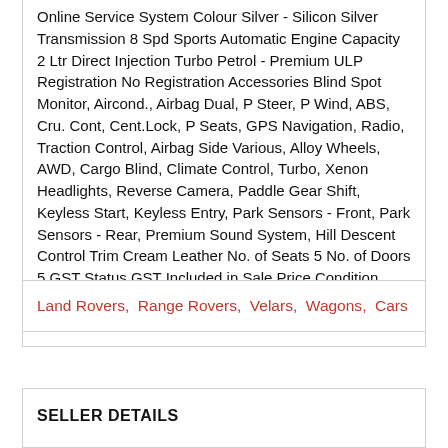Online Service System Colour Silver - Silicon Silver Transmission 8 Spd Sports Automatic Engine Capacity 2 Ltr Direct Injection Turbo Petrol - Premium ULP Registration No Registration Accessories Blind Spot Monitor, Aircond., Airbag Dual, P Steer, P Wind, ABS, Cru. Cont, Cent.Lock, P Seats, GPS Navigation, Radio, Traction Control, Airbag Side Various, Alloy Wheels, AWD, Cargo Blind, Climate Control, Turbo, Xenon Headlights, Reverse Camera, Paddle Gear Shift, Keyless Start, Keyless Entry, Park Sensors - Front, Park Sensors - Rear, Premium Sound System, Hill Descent Control Trim Cream Leather No. of Seats 5 No. of Doors 5 GST Status GST Included in Sale Price Condition Details We recommend reviewing the Condition Report. Location Belmore, NSW Price $ 76,490 ( GST inc. )
Land Rovers, Range Rovers, Velars, Wagons, Cars
SELLER DETAILS